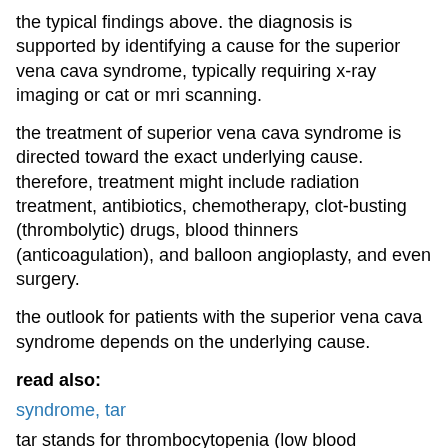the typical findings above. the diagnosis is supported by identifying a cause for the superior vena cava syndrome, typically requiring x-ray imaging or cat or mri scanning.
the treatment of superior vena cava syndrome is directed toward the exact underlying cause. therefore, treatment might include radiation treatment, antibiotics, chemotherapy, clot-busting (thrombolytic) drugs, blood thinners (anticoagulation), and balloon angioplasty, and even surgery.
the outlook for patients with the superior vena cava syndrome depends on the underlying cause.
read also:
syndrome, tar
tar stands for thrombocytopenia (low blood platelets) and aplasia (absence) of the radius (the long bone on the thumb-side of the forearm), features characterizing this syndrome. there is phocomelia (flipper-limb) with the thumbs always present. the fibula (the smaller bone in the lower leg) is often absent. the risk of bleeding from too few platelets [...]